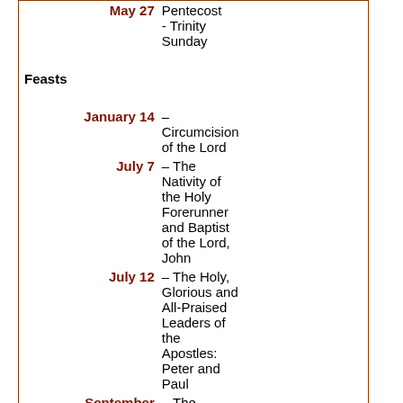| Date | Description |
| --- | --- |
| May 27 | Pentecost - Trinity Sunday |
| Feasts |  |
| January 14 | – Circumcision of the Lord |
| July 7 | – The Nativity of the Holy Forerunner and Baptist of the Lord, John |
| July 12 | – The Holy, Glorious and All-Praised Leaders of the Apostles: Peter and Paul |
| September 11 | – The Beheading of the Prophet, Forerunner of the Lord, John the Baptist |
|  | – Protecti... |